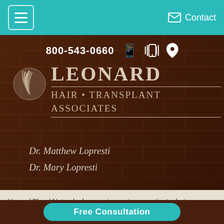Menu | Contact
[Figure (logo): Leonard Hair Transplant Associates logo with circular hair icon and serif brand name, phone number 800-543-0660, doctor names Dr. Matthew Lopresti and Dr. Mary Lopresti]
Home / Blog / Not only do we rejuvenate our patients, but we refresh ourselves, too!
Free Consultation